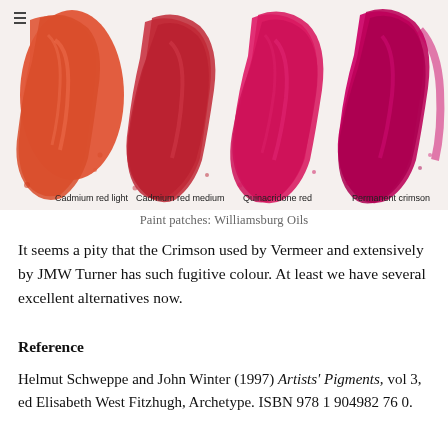[Figure (photo): Four paint swatches of red pigments on white background, labeled from left to right: Cadmium red light (orange-red), Cadmium red medium (mid red), Quinacridone red (bright pink-red), Permanent crimson (deep magenta). Paint brand: Williamsburg Oils.]
Paint patches: Williamsburg Oils
It seems a pity that the Crimson used by Vermeer and extensively by JMW Turner has such fugitive colour. At least we have several excellent alternatives now.
Reference
Helmut Schweppe and John Winter (1997) Artists' Pigments, vol 3, ed Elisabeth West Fitzhugh, Archetype. ISBN 978 1 904982 76 0.